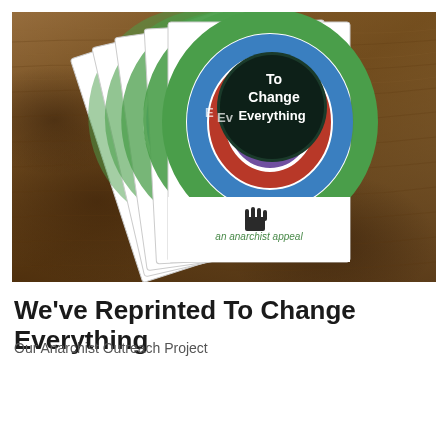[Figure (photo): A stack of booklets titled 'To Change Everything — an anarchist appeal', fanned out on a wooden table surface. The booklets have colorful swirling concentric circle designs in green, blue, red, and dark teal on the covers, with text 'To Change Everything' visible on the top booklet and a small black mitten/hand logo above the text 'an anarchist appeal'.]
We've Reprinted To Change Everything
Our Anarchist Outreach Project